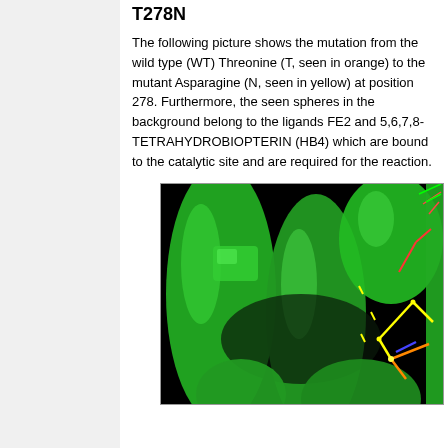T278N
The following picture shows the mutation from the wild type (WT) Threonine (T, seen in orange) to the mutant Asparagine (N, seen in yellow) at position 278. Furthermore, the seen spheres in the background belong to the ligands FE2 and 5,6,7,8-TETRAHYDROBIOPTERIN (HB4) which are bound to the catalytic site and are required for the reaction.
[Figure (illustration): 3D molecular visualization showing protein structure with green ribbon/tube representation on a black background. Yellow and orange stick representations of amino acids at position 278 (Threonine WT in orange, Asparagine mutant in yellow) are visible on the right side, along with red and blue sticks indicating other molecular components.]